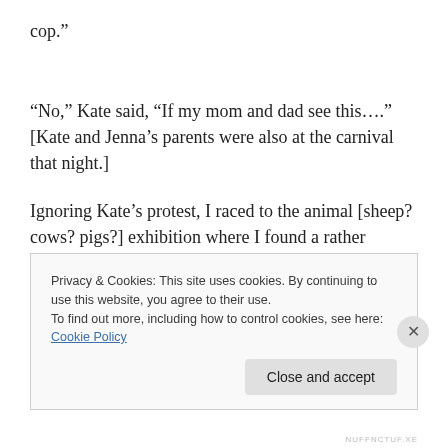cop.”
“No,” Kate said, “If my mom and dad see this….” [Kate and Jenna’s parents were also at the carnival that night.]
Ignoring Kate’s protest, I raced to the animal [sheep? cows? pigs?] exhibition where I found a rather elderly gentleman who was certainly far from my idea of a cop [I
Privacy & Cookies: This site uses cookies. By continuing to use this website, you agree to their use.
To find out more, including how to control cookies, see here: Cookie Policy
Close and accept
NUFFNCTUF.XE